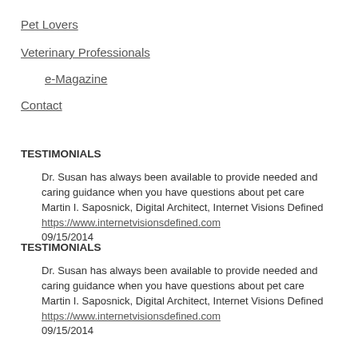Pet Lovers
Veterinary Professionals
e-Magazine
Contact
TESTIMONIALS
Dr. Susan has always been available to provide needed and caring guidance when you have questions about pet care Martin I. Saposnick, Digital Architect, Internet Visions Defined https://www.internetvisionsdefined.com 09/15/2014
TESTIMONIALS
Dr. Susan has always been available to provide needed and caring guidance when you have questions about pet care Martin I. Saposnick, Digital Architect, Internet Visions Defined https://www.internetvisionsdefined.com 09/15/2014